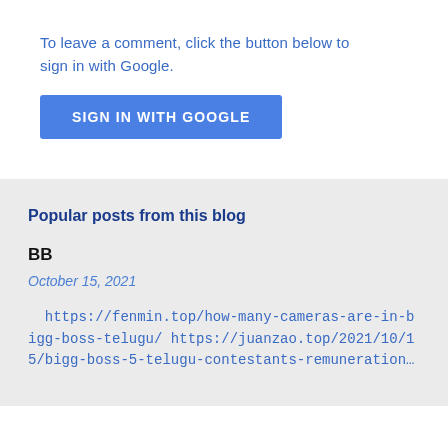To leave a comment, click the button below to sign in with Google.
[Figure (other): Blue button labeled SIGN IN WITH GOOGLE]
Popular posts from this blog
BB
October 15, 2021
https://fenmin.top/how-many-cameras-are-in-bigg-boss-telugu/ https://juanzao.top/2021/10/15/bigg-boss-5-telugu-contestants-remuneration-per-week ...